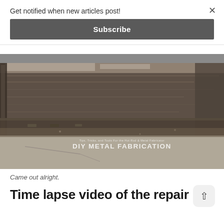Get notified when new articles post!
Subscribe
[Figure (photo): Close-up photograph of a metal fabrication repair — a rusted and corroded metal panel or rocker area with welded seams and dirt/grime visible, placed on a concrete floor. Watermark reads 'DIY METAL FABRICATION' with small text above it: 'Tips, Tricks, and Tools For the Hot Rod & Metal Fabricator']
Came out alright.
Time lapse video of the repair